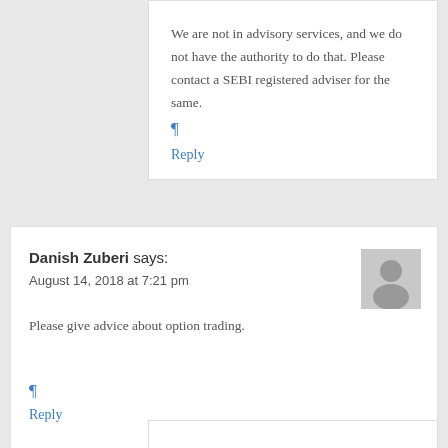We are not in advisory services, and we do not have the authority to do that. Please contact a SEBI registered adviser for the same.
¶
Reply
Danish Zuberi says:
August 14, 2018 at 7:21 pm
[Figure (illustration): User avatar placeholder - grey silhouette icon]
Please give advice about option trading.
¶
Reply